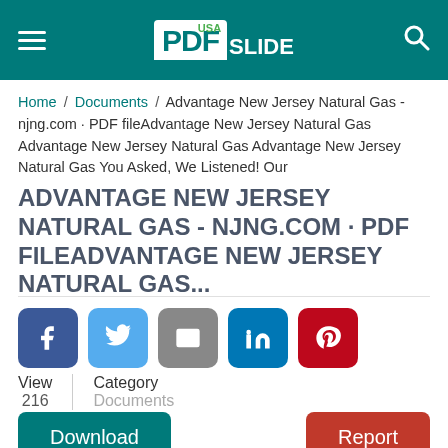PDF SLIDE USA
Home / Documents / Advantage New Jersey Natural Gas - njng.com · PDF fileAdvantage New Jersey Natural Gas Advantage New Jersey Natural Gas Advantage New Jersey Natural Gas You Asked, We Listened! Our
ADVANTAGE NEW JERSEY NATURAL GAS - NJNG.COM · PDF FILEADVANTAGE NEW JERSEY NATURAL GAS...
[Figure (infographic): Social share buttons: Facebook (blue), Twitter (light blue), Email (grey), LinkedIn (dark blue), Pinterest (red)]
View
216
Category
Documents
Download    Report